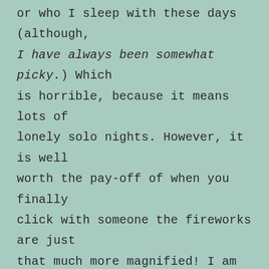or who I sleep with these days (although, I have always been somewhat picky.) Which is horrible, because it means lots of lonely solo nights. However, it is well worth the pay-off of when you finally click with someone the fireworks are just that much more magnified! I am implementing a rule that I will not sleep with someone until I am confident that they are not going to go around and take off the second I do. I think its pretty wise. It's a little longer than maybe the 'three dates' typical rule, but I believe its rather effective. No one has up and left me since this rule… in fact, most of them tend to fall in love with me so I